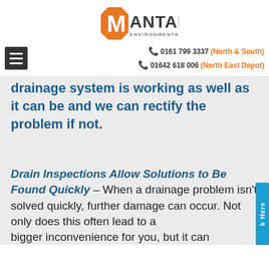[Figure (logo): Mantank Environmental Services Limited logo — orange octagon with M, text MANTANK in dark grey, ENVIRONMENTAL SERVICES LIMITED below]
0161 799 3337 (North & South) 01642 618 006 (North East Depot)
drainage system is working as well as it can be and we can rectify the problem if not.
Drain Inspections Allow Solutions to Be Found Quickly – When a drainage problem isn't solved quickly, further damage can occur. Not only does this often lead to a bigger inconvenience for you, but it can